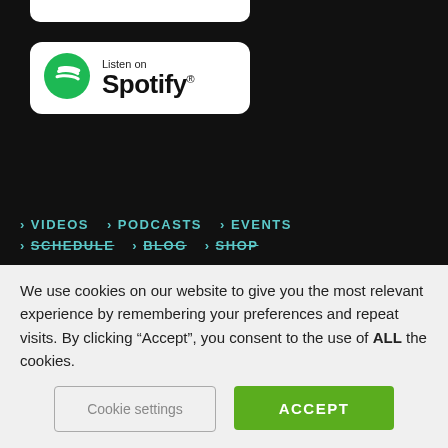[Figure (screenshot): Partial white button at top of black background section, partially cropped]
[Figure (logo): Listen on Spotify badge — white rounded rectangle with green Spotify logo and text 'Listen on Spotify']
> VIDEOS  > PODCASTS  > EVENTS
> SCHEDULE  > BLOG  > SHOP
We use cookies on our website to give you the most relevant experience by remembering your preferences and repeat visits. By clicking “Accept”, you consent to the use of ALL the cookies.
Cookie settings
ACCEPT